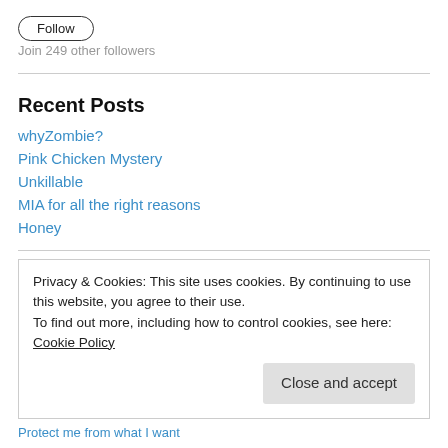Follow
Join 249 other followers
Recent Posts
whyZombie?
Pink Chicken Mystery
Unkillable
MIA for all the right reasons
Honey
Privacy & Cookies: This site uses cookies. By continuing to use this website, you agree to their use. To find out more, including how to control cookies, see here: Cookie Policy
Close and accept
Protect me from what I want